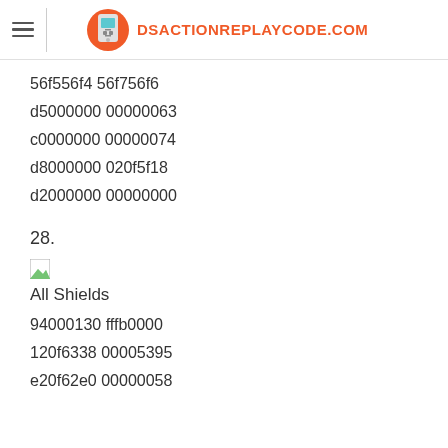DSACTIONREPLAYCODE.COM
56f556f4 56f756f6
d5000000 00000063
c0000000 00000074
d8000000 020f5f18
d2000000 00000000
28.
[Figure (illustration): Broken image placeholder icon]
All Shields
94000130 fffb0000
120f6338 00005395
e20f62e0 00000058